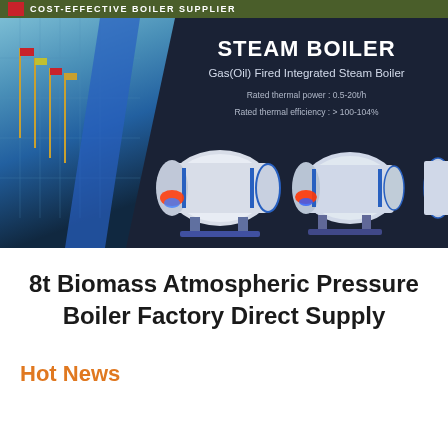COST-EFFECTIVE BOILER SUPPLIER
[Figure (photo): Dark navy background banner showing Gas(Oil) Fired Integrated Steam Boiler advertisement. Left side shows a modern glass building with flagpoles. Right side has white text reading STEAM BOILER, Gas(Oil) Fired Integrated Steam Boiler, Rated thermal power: 0.5-20t/h, Rated thermal efficiency: > 100-104%. Three white/blue/red industrial steam boiler units are displayed in the lower portion.]
8t Biomass Atmospheric Pressure Boiler Factory Direct Supply
Hot News